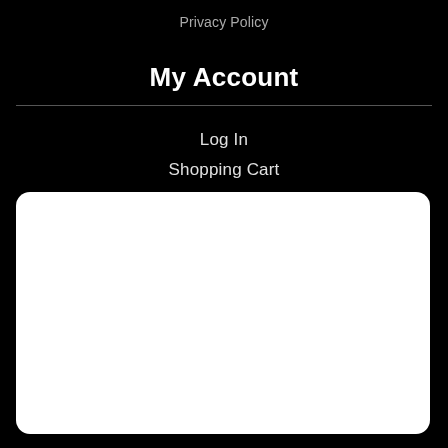Privacy Policy
My Account
Log In
Shopping Cart
[Figure (other): Large white rounded rectangle content area on black background]